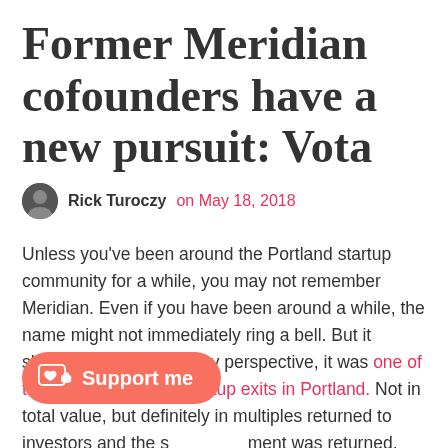Former Meridian cofounders have a new pursuit: Vota
Rick Turoczy on May 18, 2018
Unless you've been around the Portland startup community for a while, you may not remember Meridian. Even if you have been around a while, the name might not immediately ring a bell. But it should. Because from my perspective, it was one of the more successful startup exits in Portland. Not in total value, but definitely in multiples returned to investors and the s[upport]ment was returned.
Read More →